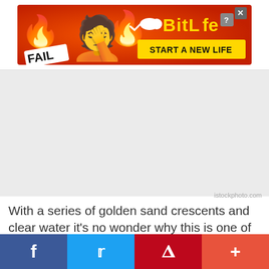[Figure (illustration): BitLife mobile game advertisement banner with red/orange fiery background, FAIL badge on left, cartoon emoji character, and BitLife logo with 'START A NEW LIFE' text on right]
[Figure (photo): Large placeholder image area (beach photo from istockphoto.com, mostly white/grey in this rendering)]
istockphoto.com
With a series of golden sand crescents and clear water it’s no wonder why this is one of the most popular beaches in the South Shore. Beach-
[Figure (infographic): Social media share bar with Facebook (blue), Twitter (blue), Pinterest (red), and More (orange-red) buttons at bottom of page]